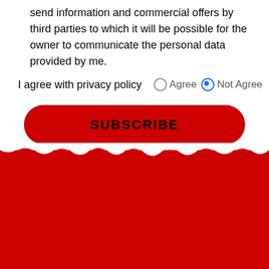send information and commercial offers by third parties to which it will be possible for the owner to communicate the personal data provided by me.
I agree with privacy policy   Agree   Not Agree
SUBSCRIBE
[Figure (logo): OoViral Top Lists logo on red background — a cartoon worm character with large eyes next to graffiti-style text reading VIRAL TOP LISTS]
TopViralLists is for Viral Worms, who wants to be up to date before others. We work hard to serve you first an best of all and to satisfy your hunger of Viral News.